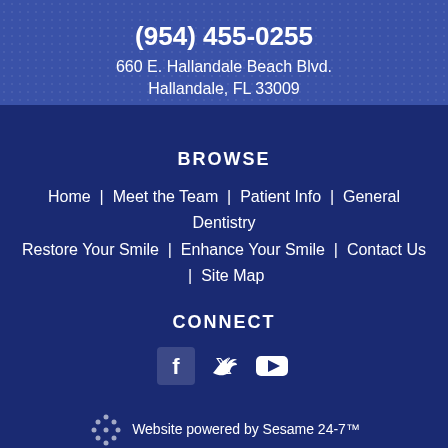(954) 455-0255
660 E. Hallandale Beach Blvd.
Hallandale, FL 33009
BROWSE
Home | Meet the Team | Patient Info | General Dentistry | Restore Your Smile | Enhance Your Smile | Contact Us | Site Map
CONNECT
[Figure (illustration): Social media icons: Facebook, Twitter, YouTube]
Website powered by Sesame 24-7™